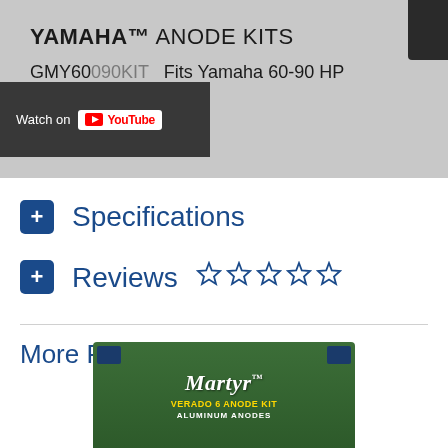[Figure (screenshot): Video thumbnail for Yamaha Anode Kits showing product name and YouTube Watch on overlay. Text reads: YAMAHA™ ANODE KITS, GMY60090KIT Fits Yamaha 60-90 HP, with a Watch on YouTube button overlay.]
Specifications
Reviews ☆☆☆☆☆
More From This Category
[Figure (photo): Martyr Verado 6 Anode Kit Aluminum Anodes product packaging on green background]